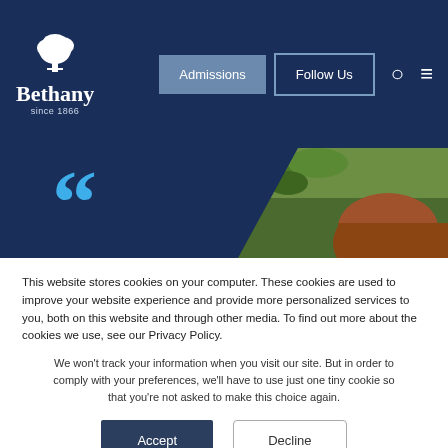[Figure (logo): Bethany college logo with white tree icon and text 'Bethany since 1866' on dark navy blue header]
[Figure (screenshot): Website navigation header with Admissions and Follow Us buttons, search icon, and hamburger menu icon]
[Figure (photo): Dark navy blue section with large blue quotation marks on the left and a photo of a person with red/brown hair on the right]
This website stores cookies on your computer. These cookies are used to improve your website experience and provide more personalized services to you, both on this website and through other media. To find out more about the cookies we use, see our Privacy Policy.
We won't track your information when you visit our site. But in order to comply with your preferences, we'll have to use just one tiny cookie so that you're not asked to make this choice again.